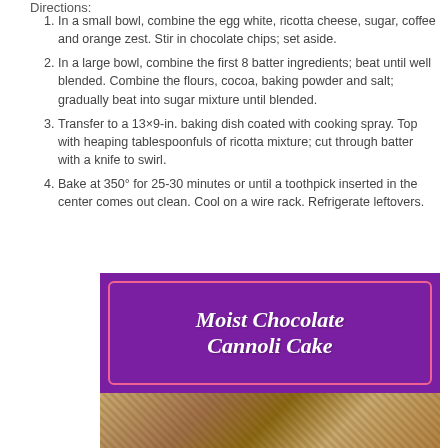Directions:
In a small bowl, combine the egg white, ricotta cheese, sugar, coffee and orange zest. Stir in chocolate chips; set aside.
In a large bowl, combine the first 8 batter ingredients; beat until well blended. Combine the flours, cocoa, baking powder and salt; gradually beat into sugar mixture until blended.
Transfer to a 13×9-in. baking dish coated with cooking spray. Top with heaping tablespoonfuls of ricotta mixture; cut through batter with a knife to swirl.
Bake at 350° for 25-30 minutes or until a toothpick inserted in the center comes out clean. Cool on a wire rack. Refrigerate leftovers.
[Figure (illustration): Purple banner with pink inner border containing the text 'Moist Chocolate Cannoli Cake' in white italic script, with a photo of the cake below.]